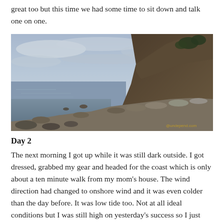great too but this time we had some time to sit down and talk one on one.
[Figure (photo): Coastal landscape at dusk or dawn showing a rocky shoreline with calm bluish-grey water on the left, a rocky cliff with trees on the upper right, and overcast sky. Watermark reads '@undepend.com'.]
Day 2
The next morning I got up while it was still dark outside. I got dressed, grabbed my gear and headed for the coast which is only about a ten minute walk from my mom's house. The wind direction had changed to onshore wind and it was even colder than the day before. It was low tide too. Not at all ideal conditions but I was still high on yesterday's success so I just kept going. I